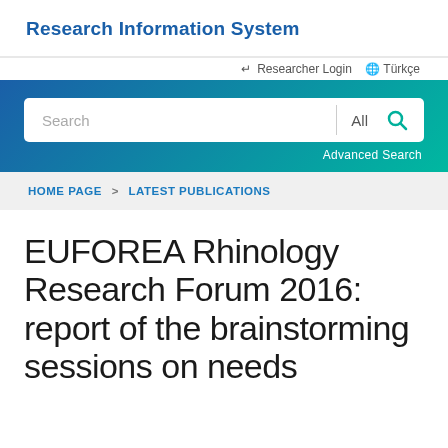Research Information System
Researcher Login  Türkçe
[Figure (screenshot): Search bar with 'Search' input field, 'All' dropdown, and a teal search icon button, inside a blue-to-teal gradient banner. 'Advanced Search' link below.]
HOME PAGE > LATEST PUBLICATIONS
EUFOREA Rhinology Research Forum 2016: report of the brainstorming sessions on needs